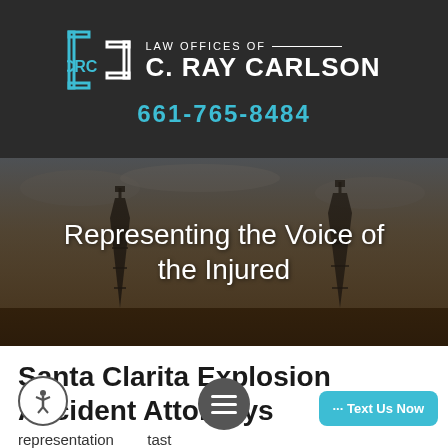[Figure (logo): CRC bracket logo with firm name: Law Offices of C. Ray Carlson, and phone number 661-765-8484 on dark background]
[Figure (photo): Oil derrick / pump jack landscape at dusk with cloudy sky, dark brownish-gray tone with hero text overlay]
Representing the Voice of the Injured
Santa Clarita Explosion Accident Attorneys
representation tast Injured Victim...